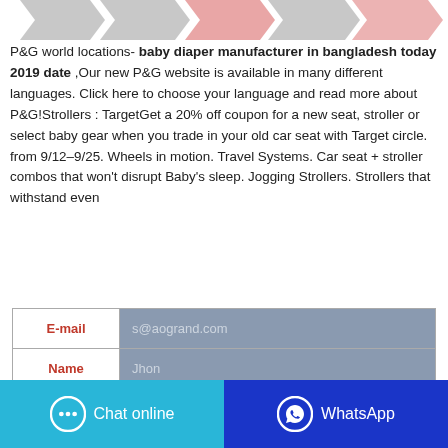[Figure (illustration): Row of downward-pointing decorative arrows/chevrons in grey and light red at the top of the page]
P&G world locations- baby diaper manufacturer in bangladesh today 2019 date ,Our new P&G website is available in many different languages. Click here to choose your language and read more about P&G!Strollers : TargetGet a 20% off coupon for a new seat, stroller or select baby gear when you trade in your old car seat with Target circle. from 9/12–9/25. Wheels in motion. Travel Systems. Car seat + stroller combos that won't disrupt Baby's sleep. Jogging Strollers. Strollers that withstand even
| E-mail | s@aogrand.com |
| --- | --- |
| Name | Jhon |
|  |  |
[Figure (screenshot): Two bottom buttons: 'Chat online' on a cyan/blue background and 'WhatsApp' on a dark blue background, each with respective icons]